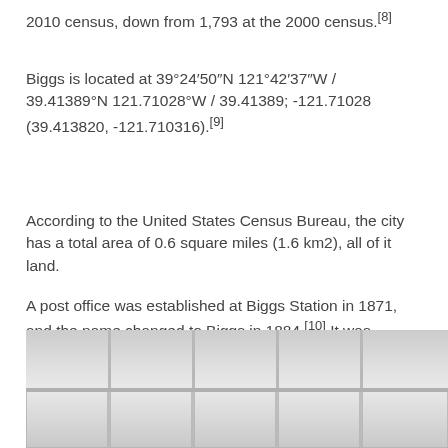2010 census, down from 1,793 at the 2000 census.[8]
Biggs is located at 39°24′50″N 121°42′37″W / 39.41389°N 121.71028°W / 39.41389; -121.71028 (39.413820, -121.710316).[9]
According to the United States Census Bureau, the city has a total area of 0.6 square miles (1.6 km2), all of it land.
A post office was established at Biggs Station in 1871, and the name changed to Biggs in 1884.[10] It was incorporated in 1903.[10] Biggs is named for Maj. Marion Biggs, who first shipped grain by rail from the town's location.[10]
[Figure (photo): Partial view of a building interior or exterior with windows, grayscale image cropped at the bottom of the page.]